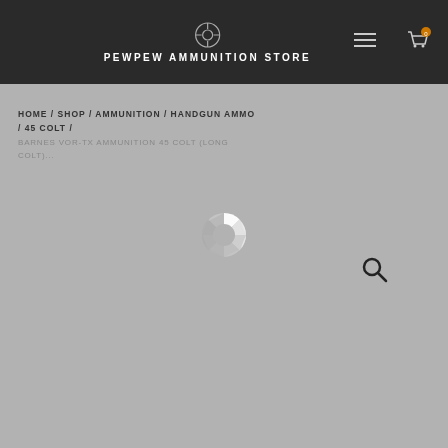PEWPEW AMMUNITION STORE
HOME / SHOP / AMMUNITION / HANDGUN AMMO / 45 COLT / BARNES VOR-TX AMMUNITION 45 COLT (LONG COLT)...
[Figure (other): Loading spinner (circular segmented white/grey loading indicator)]
[Figure (other): Search magnifying glass icon]